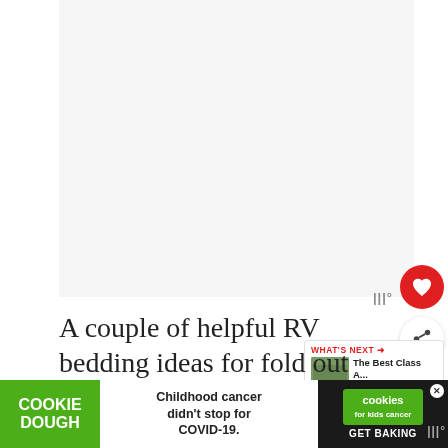[Figure (photo): Large image placeholder area, off-white/light gray background]
A couple of helpful RV bedding ideas for fold out beds are t[o use] a mattress topper for additional
[Figure (screenshot): Advertisement banner: Cookie Dough green logo, 'Childhood cancer didn't stop for COVID-19.' text, cookies for kids cancer logo, GET BAKING CTA]